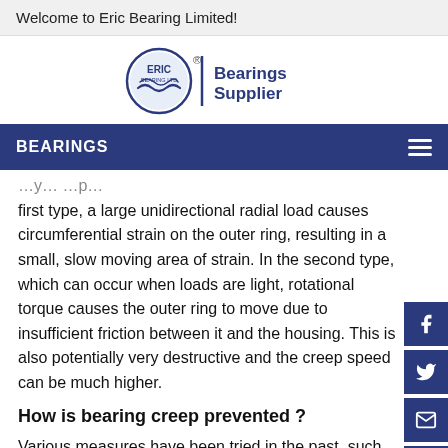Welcome to Eric Bearing Limited!
[Figure (logo): Eric Bearing Ltd logo with circular emblem and 'Bearings Supplier' text in dark blue]
BEARINGS
first type, a large unidirectional radial load causes circumferential strain on the outer ring, resulting in a small, slow moving area of strain. In the second type, which can occur when loads are light, rotational torque causes the outer ring to move due to insufficient friction between it and the housing. This is also potentially very destructive and the creep speed can be much higher.
How is bearing creep prevented ?
Various measures have been tried in the past, such as using a thicker outer ring or a more solid lubrication film, however there are size, weight and cost implications